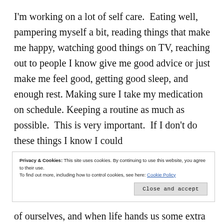I'm working on a lot of self care.  Eating well, pampering myself a bit, reading things that make me happy, watching good things on TV, reaching out to people I know give me good advice or just make me feel good, getting good sleep, and enough rest. Making sure I take my medication on schedule. Keeping a routine as much as possible.  This is very important.  If I don't do these things I know I could
Privacy & Cookies: This site uses cookies. By continuing to use this website, you agree to their use.
To find out more, including how to control cookies, see here: Cookie Policy
of ourselves, and when life hands us some extra